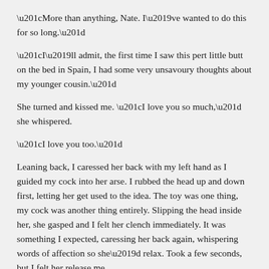“More than anything, Nate. I’ve wanted to do this for so long.”
“I’ll admit, the first time I saw this pert little butt on the bed in Spain, I had some very unsavoury thoughts about my younger cousin.”
She turned and kissed me. “I love you so much,” she whispered.
“I love you too.”
Leaning back, I caressed her back with my left hand as I guided my cock into her arse. I rubbed the head up and down first, letting her get used to the idea. The toy was one thing, my cock was another thing entirely. Slipping the head inside her, she gasped and I felt her clench immediately. It was something I expected, caressing her back again, whispering words of affection so she’d relax. Took a few seconds, but I felt her release me.
“Good, gorgeous, you want more?” She nodded, glancing back, noticing the shimmer in her eyes. It